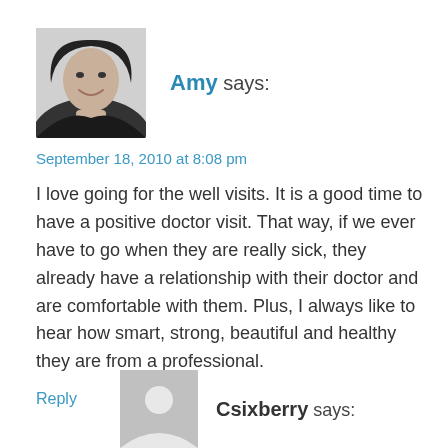[Figure (photo): Black and white avatar photo of Amy, a woman with dark hair, smiling]
Amy says:
September 18, 2010 at 8:08 pm
I love going for the well visits. It is a good time to have a positive doctor visit. That way, if we ever have to go when they are really sick, they already have a relationship with their doctor and are comfortable with them. Plus, I always like to hear how smart, strong, beautiful and healthy they are from a professional.
Reply
[Figure (photo): Gray placeholder avatar with a white circle silhouette, for user Csixberry]
Csixberry says: